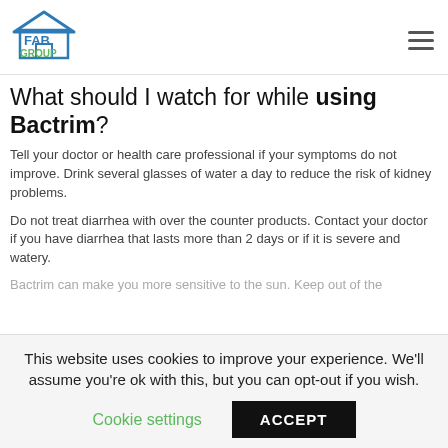Fab Group (logo) with hamburger menu
What should I watch for while using Bactrim?
Tell your doctor or health care professional if your symptoms do not improve. Drink several glasses of water a day to reduce the risk of kidney problems.
Do not treat diarrhea with over the counter products. Contact your doctor if you have diarrhea that lasts more than 2 days or if it is severe and watery.
Bactrim can make you more sensitive to the sun. Keep out of the
This website uses cookies to improve your experience. We'll assume you're ok with this, but you can opt-out if you wish.
Cookie settings   ACCEPT